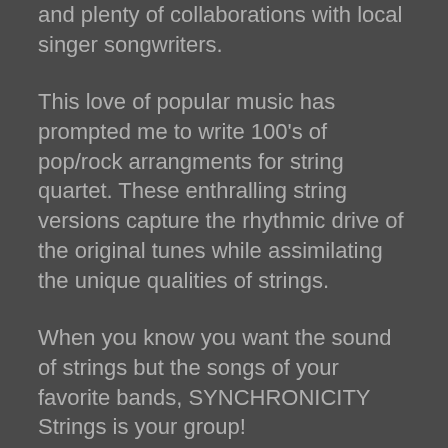and plenty of collaborations with local singer songwriters.
This love of popular music has prompted me to write 100's of pop/rock arrangments for string quartet. These enthralling string versions capture the rhythmic drive of the original tunes while assimilating the unique qualities of strings.
When you know you want the sound of strings but the songs of your favorite bands, SYNCHRONICITY Strings is your group!
POP Spec tri...